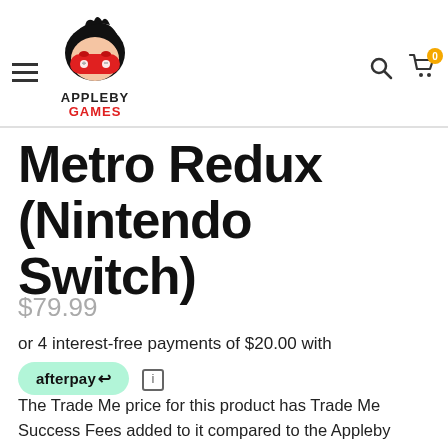[Figure (logo): Appleby Games logo: cartoon character face with black hair, red gaming controller mask, above text APPLEBY GAMES]
Metro Redux (Nintendo Switch)
$79.99
or 4 interest-free payments of $20.00 with afterpay
The Trade Me price for this product has Trade Me Success Fees added to it compared to the Appleby Games website